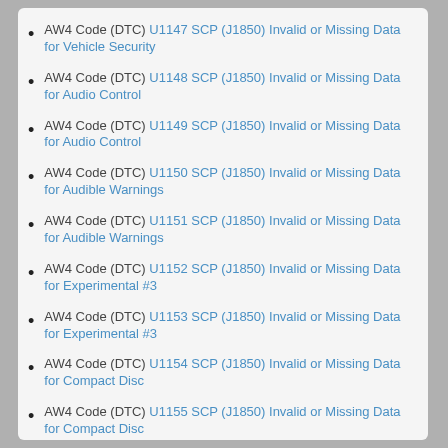AW4 Code (DTC) U1147 SCP (J1850) Invalid or Missing Data for Vehicle Security
AW4 Code (DTC) U1148 SCP (J1850) Invalid or Missing Data for Audio Control
AW4 Code (DTC) U1149 SCP (J1850) Invalid or Missing Data for Audio Control
AW4 Code (DTC) U1150 SCP (J1850) Invalid or Missing Data for Audible Warnings
AW4 Code (DTC) U1151 SCP (J1850) Invalid or Missing Data for Audible Warnings
AW4 Code (DTC) U1152 SCP (J1850) Invalid or Missing Data for Experimental #3
AW4 Code (DTC) U1153 SCP (J1850) Invalid or Missing Data for Experimental #3
AW4 Code (DTC) U1154 SCP (J1850) Invalid or Missing Data for Compact Disc
AW4 Code (DTC) U1155 SCP (J1850) Invalid or Missing Data for Compact Disc
AW4 Code (DTC) U1156 SCP (J1850) Invalid or Missing Data for Digital Signal Processing
AW4 Code (DTC) U1157 SCP (J1850) Invalid or Missing Data for Digital Si...